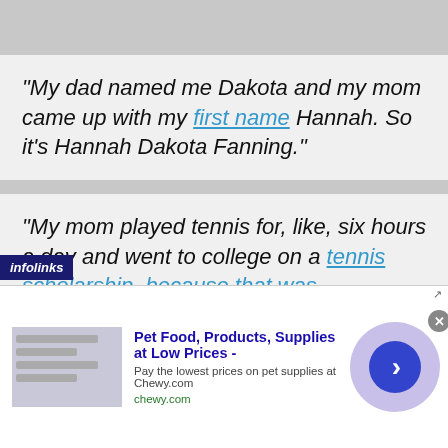“My dad named me Dakota and my mom came up with my first name Hannah. So it’s Hannah Dakota Fanning.”
“My mom played tennis for, like, six hours a day and went to college on a [tennis scholarship, because that was...
[Figure (screenshot): Advertisement banner: Pet Food, Products, Supplies at Low Prices - chewy.com, with infolinks label and a play/arrow button]